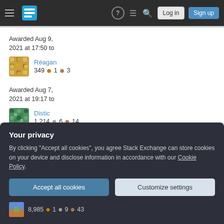Stack Exchange navigation bar with Log in and Sign up buttons
Awarded Aug 9, 2021 at 17:50 to
Réagan 349 ● 1 ● 3
Awarded Aug 7, 2021 at 19:17 to
Distic 1,214 ● 6 ● 14
Awarded Aug 3, 2021 at 13:25 to
Your privacy
By clicking "Accept all cookies", you agree Stack Exchange can store cookies on your device and disclose information in accordance with our Cookie Policy.
Accept all cookies   Customize settings
8,985 ● 1 ● 9 ● 43